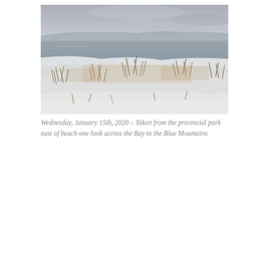[Figure (photo): Winter beach scene showing snow-covered sand dunes with dry beach grass in the foreground, a calm grey bay or large lake in the middle ground, and distant blue mountains under an overcast grey sky. Photo taken from a provincial park east of beach one, looking across the Bay to the Blue Mountains.]
Wednesday, January 15th, 2020 – Taken from the provincial park east of beach one look across the Bay to the Blue Mountains